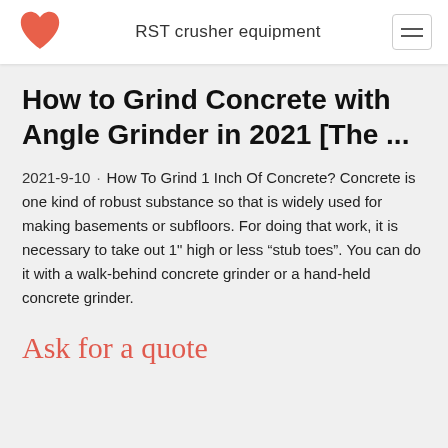RST crusher equipment
How to Grind Concrete with Angle Grinder in 2021 [The ...
2021-9-10 · How To Grind 1 Inch Of Concrete? Concrete is one kind of robust substance so that is widely used for making basements or subfloors. For doing that work, it is necessary to take out 1" high or less "stub toes". You can do it with a walk-behind concrete grinder or a hand-held concrete grinder.
Ask for a quote